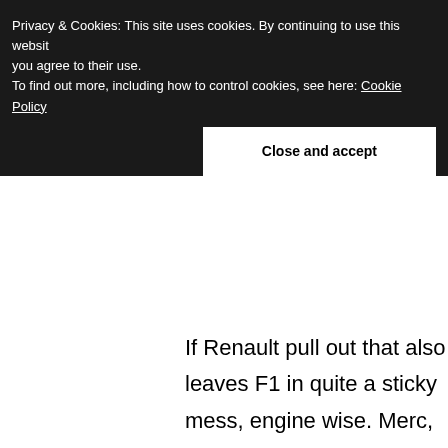Privacy & Cookies: This site uses cookies. By continuing to use this website, you agree to their use.
To find out more, including how to control cookies, see here: Cookie Policy
Close and accept
If Renault pull out that also leaves F1 in quite a sticky mess, engine wise. Merc, Ferrari and Honda with 4 teams can supply all teams, but Honda wants exclusivity until the end of 2016. That means an RB engine would have to supply RB and Toro